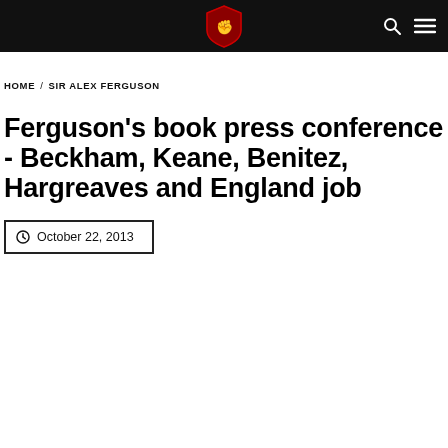BUSY NATION — Navigation bar with logo, search and menu icons
HOME / SIR ALEX FERGUSON
Ferguson's book press conference - Beckham, Keane, Benitez, Hargreaves and England job
October 22, 2013